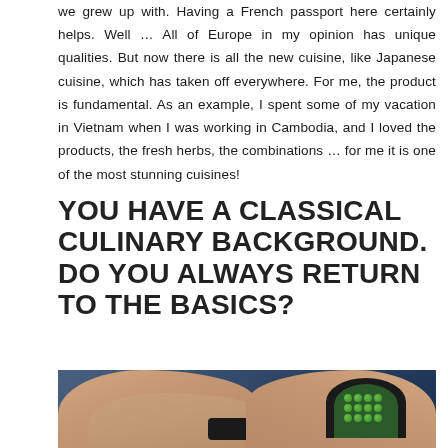we grew up with. Having a French passport here certainly helps. Well … All of Europe in my opinion has unique qualities. But now there is all the new cuisine, like Japanese cuisine, which has taken off everywhere. For me, the product is fundamental. As an example, I spent some of my vacation in Vietnam when I was working in Cambodia, and I loved the products, the fresh herbs, the combinations … for me it is one of the most stunning cuisines!
YOU HAVE A CLASSICAL CULINARY BACKGROUND. DO YOU ALWAYS RETURN TO THE BASICS?
[Figure (photo): Close-up photo of hands over a blue surface, one hand holding a small black bowl filled with green peas, with a black object visible nearby.]